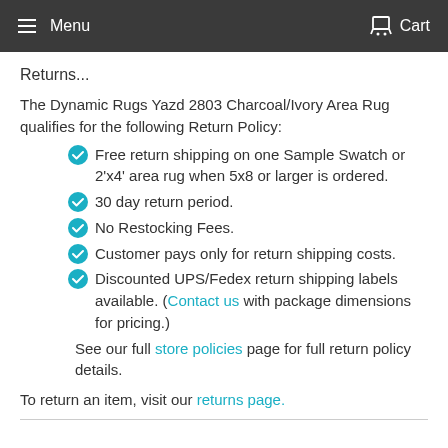Menu   Cart
Returns...
The Dynamic Rugs Yazd 2803 Charcoal/Ivory Area Rug qualifies for the following Return Policy:
Free return shipping on one Sample Swatch or 2'x4' area rug when 5x8 or larger is ordered.
30 day return period.
No Restocking Fees.
Customer pays only for return shipping costs.
Discounted UPS/Fedex return shipping labels available. (Contact us with package dimensions for pricing.)
See our full store policies page for full return policy details.
To return an item, visit our returns page.